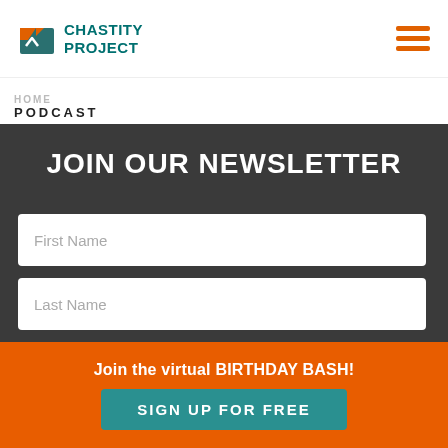CHASTITY PROJECT
PODCAST
JOIN OUR NEWSLETTER
First Name
Last Name
Join the virtual BIRTHDAY BASH!
SIGN UP FOR FREE